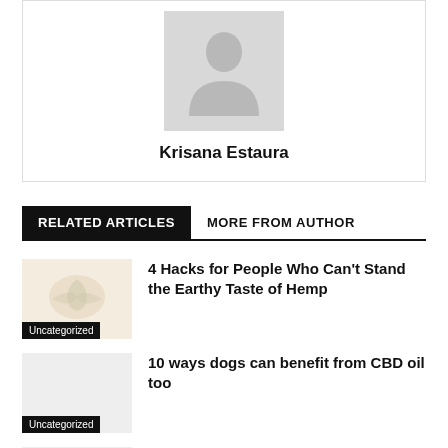[Figure (photo): Author avatar placeholder — gray silhouette of a person on light gray background]
Krisana Estaura
RELATED ARTICLES   MORE FROM AUTHOR
[Figure (photo): Article thumbnail — faint hemp leaf image on pale background with Uncategorized tag]
4 Hacks for People Who Can't Stand the Earthy Taste of Hemp
Uncategorized
10 ways dogs can benefit from CBD oil too
Uncategorized
Does CBD Soothe Toothache Pain?